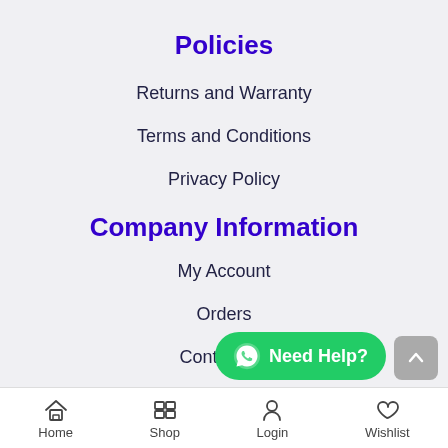Policies
Returns and Warranty
Terms and Conditions
Privacy Policy
Company Information
My Account
Orders
Contact Us
Home  Shop  Login  Wishlist